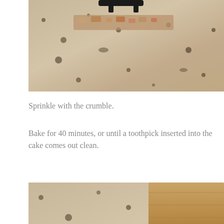[Figure (photo): Close-up photo of a black baking pan on a granite countertop, with crumble topping visible, viewed from above at an angle.]
Sprinkle with the crumble.
Bake for 40 minutes, or until a toothpick inserted into the cake comes out clean.
[Figure (photo): Photo of a black baking pan filled with brown crumble topping on a granite countertop, with a wooden cutting board visible in the background.]